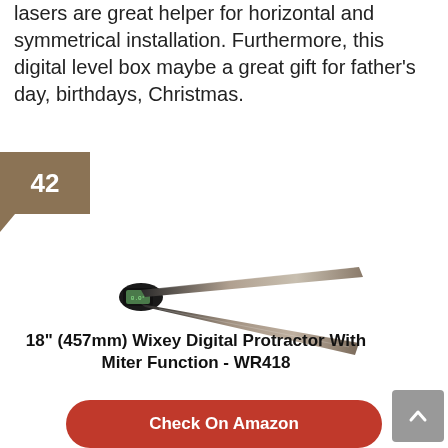lasers are great helper for horizontal and symmetrical installation. Furthermore, this digital level box maybe a great gift for father's day, birthdays, Christmas.
42
[Figure (photo): Photo of the 18" (457mm) Wixey Digital Protractor with Miter Function - WR418, showing two metal arms joined at a pivot with a digital display unit at the hinge.]
18" (457mm) Wixey Digital Protractor With Miter Function - WR418
Check On Amazon